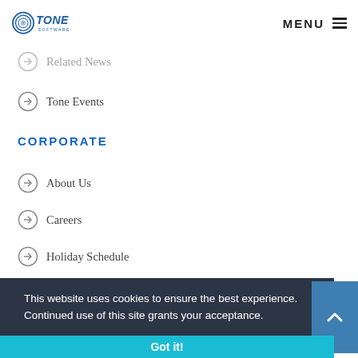Tone Software — MENU
Related News
Tone Events
CORPORATE
About Us
Careers
Holiday Schedule
This website uses cookies to ensure the best experience. Continued use of this site grants your acceptance.
Got it!